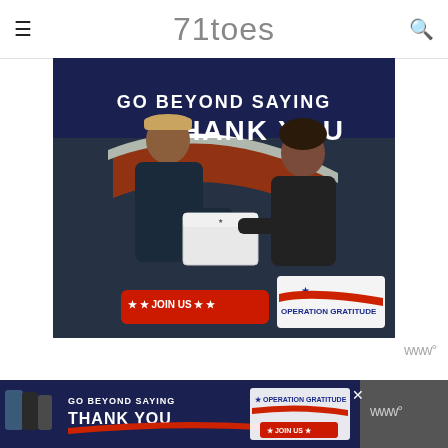71toes
[Figure (photo): Operation Gratitude advertisement showing a military service member receiving a box from a civilian volunteer, with text 'GO BEYOND SAYING THANK YOU', red button 'JOIN US', and Operation Gratitude logo]
I will always remember breathlessly running up an abandoned parking garage together, the whole sky on fire.
[Figure (photo): Bottom banner advertisement for Operation Gratitude with 'GO BEYOND SAYING THANK YOU' text and JOIN US button]